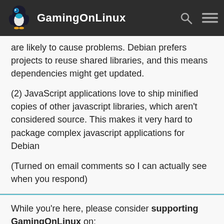GamingOnLinux
are likely to cause problems. Debian prefers projects to reuse shared libraries, and this means dependencies might get updated.
(2) JavaScript applications love to ship minified copies of other javascript libraries, which aren't considered source. This makes it very hard to package complex javascript applications for Debian
(Turned on email comments so I can actually see when you respond)
While you're here, please consider supporting GamingOnLinux on:
Reward Tiers: Patreon. Plain Donations: